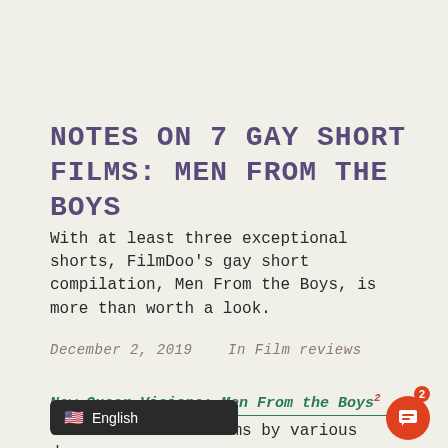NOTES ON 7 GAY SHORT FILMS: MEN FROM THE BOYS
With at least three exceptional shorts, FilmDoo's gay short compilation, Men From the Boys, is more than worth a look.
December 2, 2019    In Film reviews
New Queer Visions: Men From the Boys
G...ort films by various d...